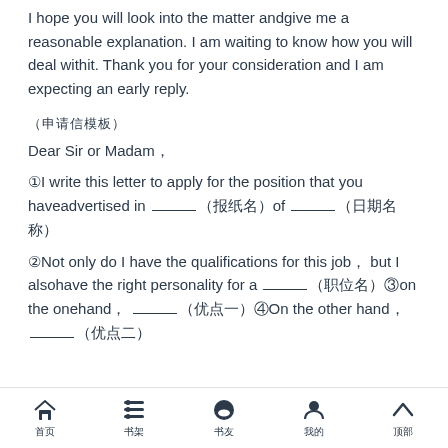I hope you will look into the matter and give me a reasonable explanation. I am waiting to know how you will deal with it. Thank you for your consideration and I am expecting an early reply.
（申请信模板）
Dear Sir or Madam，
①I write this letter to apply for the position that you have advertised in ______（报纸名）of ______（日期名称）
②Not only do I have the qualifications for this job， but I also have the right personality for a ______（职位名）③on the one hand， ______（优点一）④On the other hand， ______（优点二）
首页  书架  书友  我的  顶部